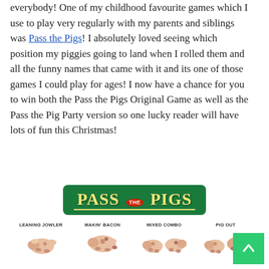everybody! One of my childhood favourite games which I use to play very regularly with my parents and siblings was Pass the Pigs! I absolutely loved seeing which position my piggies going to land when I rolled them and all the funny names that came with it and its one of those games I could play for ages! I now have a chance for you to win both the Pass the Pigs Original Game as well as the Pass the Pig Party version so one lucky reader will have lots of fun this Christmas!
[Figure (logo): Pass the Pigs logo — green rounded rectangle with yellow serif text 'PASS THE PIGS' and a red circular 'THE' badge in between]
[Figure (photo): Four pig figurines labeled LEANING JOWLER, MAKIN' BACON, MIXED COMBO, PIG OUT, each showing different positions of small pink pig toys]